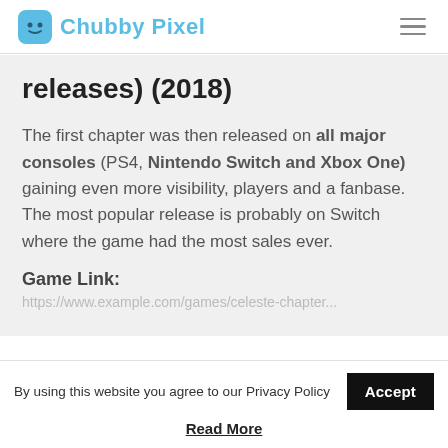Chubby Pixel
releases) (2018)
The first chapter was then released on all major consoles (PS4, Nintendo Switch and Xbox One) gaining even more visibility, players and a fanbase.
The most popular release is probably on Switch where the game had the most sales ever.
Game Link:
[link text partially visible]
By using this website you agree to our Privacy Policy
Read More